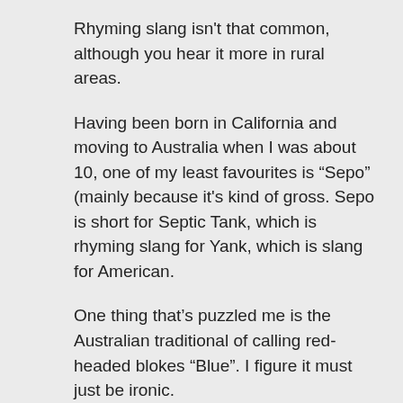Rhyming slang isn't that common, although you hear it more in rural areas.
Having been born in California and moving to Australia when I was about 10, one of my least favourites is “Sepo” (mainly because it's kind of gross. Sepo is short for Septic Tank, which is rhyming slang for Yank, which is slang for American.
One thing that’s puzzled me is the Australian traditional of calling red-headed blokes “Blue”. I figure it must just be ironic.